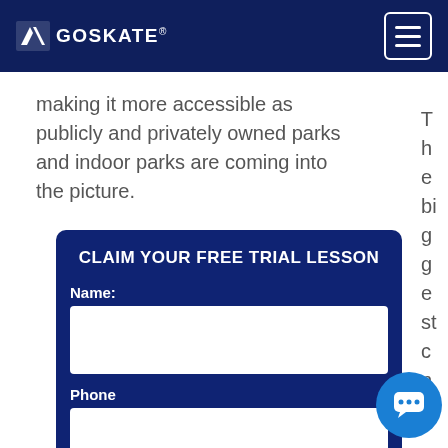GOSKATE® [navigation]
making it more accessible as publicly and privately owned parks and indoor parks are coming into the picture.
CLAIM YOUR FREE TRIAL LESSON
Name:
Phone
Email: